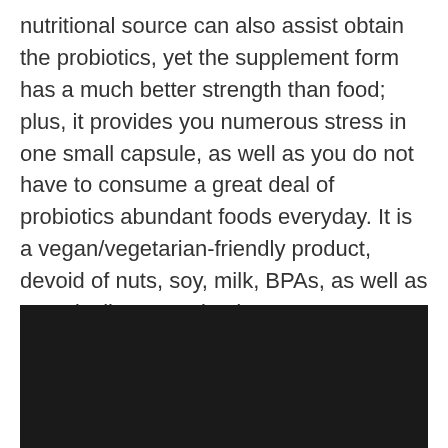nutritional source can also assist obtain the probiotics, yet the supplement form has a much better strength than food; plus, it provides you numerous stress in one small capsule, as well as you do not have to consume a great deal of probiotics abundant foods everyday. It is a vegan/vegetarian-friendly product, devoid of nuts, soy, milk, BPAs, as well as genetically customized components.
[Figure (photo): Dark/black image area, appears to be a product photo with very low brightness or a nearly black image]